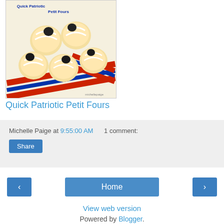[Figure (photo): Photo of Quick Patriotic Petit Fours — small round pastries decorated with white icing and dark accents, arranged on red, white, and blue ribbons. Text overlay at top reads 'Quick Patriotic Petit Fours' in blue. Watermark 'michellepaige' at bottom right.]
Quick Patriotic Petit Fours
Michelle Paige at 9:55:00 AM   1 comment:
Share
‹
Home
›
View web version
Powered by Blogger.